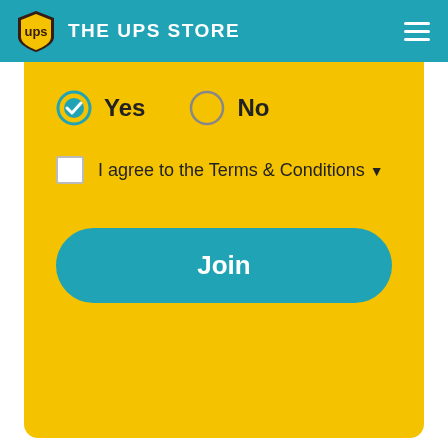THE UPS STORE
[Figure (screenshot): Yellow form section with Yes/No radio buttons, Terms & Conditions checkbox, and a teal Join button]
Didn't find what you were looking for or want to see our other offerings?
[Figure (illustration): Bottom gray card with partial avatar image]